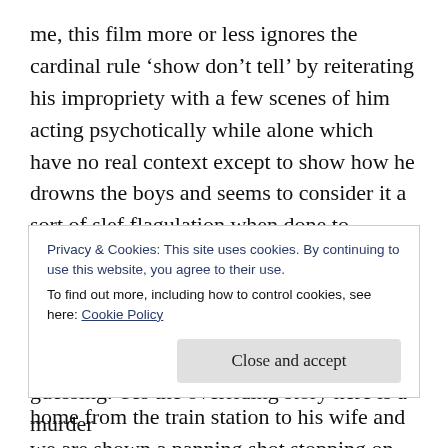me, this film more or less ignores the cardinal rule ‘show don’t tell’ by reiterating his impropriety with a few scenes of him acting psychotically while alone which have no real context except to show how he drowns the boys and seems to consider it a sort of slef flagulation when done to himself. ‘he is fucked up’ the film makers seem to want us to think but it left me wondering if he wasn’t some parody of serial killers in better films. There is one scene where he brings a boy back to his home from the train station to his wife and we are shown a panning shot stopping on the framed photo of a boy.
Privacy & Cookies: This site uses cookies. By continuing to use this website, you agree to their use.
To find out more, including how to control cookies, see here: Cookie Policy
Close and accept
guessing. Yes the overriding story here is a murder